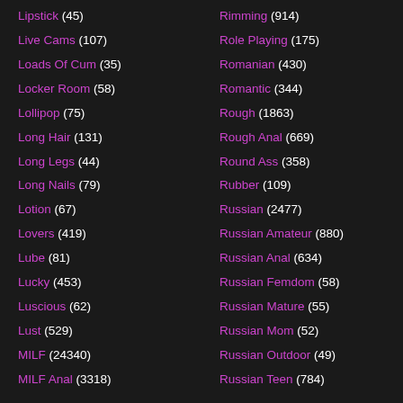Lipstick (45)
Live Cams (107)
Loads Of Cum (35)
Locker Room (58)
Lollipop (75)
Long Hair (131)
Long Legs (44)
Long Nails (79)
Lotion (67)
Lovers (419)
Lube (81)
Lucky (453)
Luscious (62)
Lust (529)
MILF (24340)
MILF Anal (3318)
Rimming (914)
Role Playing (175)
Romanian (430)
Romantic (344)
Rough (1863)
Rough Anal (669)
Round Ass (358)
Rubber (109)
Russian (2477)
Russian Amateur (880)
Russian Anal (634)
Russian Femdom (58)
Russian Mature (55)
Russian Mom (52)
Russian Outdoor (49)
Russian Teen (784)